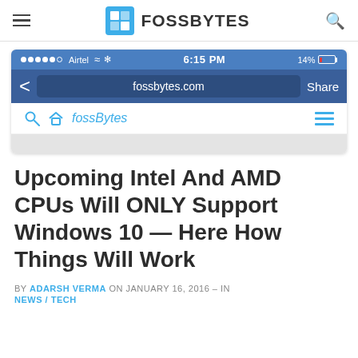FOSSBYTES
[Figure (screenshot): Mobile browser screenshot showing fossbytes.com open in Safari/iOS browser with Airtel signal, 6:15 PM time, 14% battery, and the fossbytes website toolbar]
Upcoming Intel And AMD CPUs Will ONLY Support Windows 10 — Here How Things Will Work
BY ADARSH VERMA ON JANUARY 16, 2016 – IN NEWS / TECH